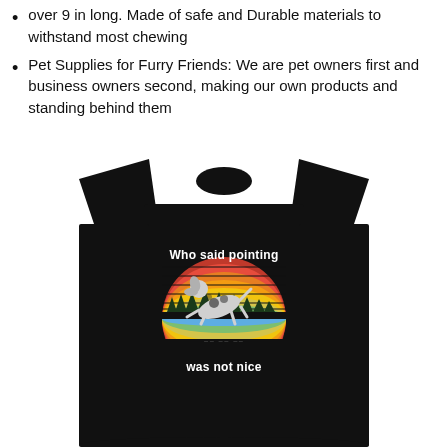over 9 in long. Made of safe and Durable materials to withstand most chewing
Pet Supplies for Furry Friends: We are pet owners first and business owners second, making our own products and standing behind them
[Figure (photo): Black t-shirt with retro vintage sunset graphic featuring a pointing dog (German Shorthaired Pointer in pointing stance) over a semicircular sunset with horizontal color stripes (red, orange, yellow, green, teal) and pine trees silhouette at bottom. Text on shirt reads 'Who said pointing was not nice']